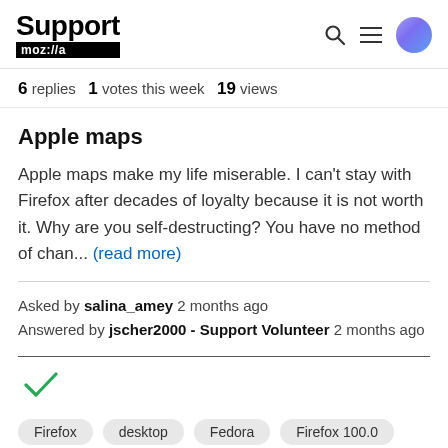Support mozilla// [search] [menu] [avatar]
6 replies  1 votes this week  19 views
Apple maps
Apple maps make my life miserable. I can't stay with Firefox after decades of loyalty because it is not worth it. Why are you self-destructing? You have no method of chan... (read more)
Asked by salina_amey 2 months ago
Answered by jscher2000 - Support Volunteer 2 months ago
[Figure (other): Green checkmark indicating solved/answered]
Firefox  desktop  Fedora  Firefox 100.0